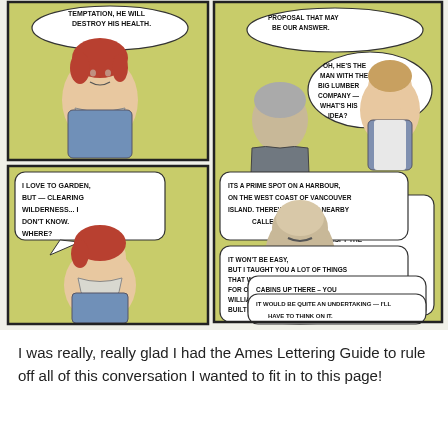[Figure (illustration): A four-panel comic strip showing a red-haired woman and an older man discussing a Crown land offer near Hesquiat on Vancouver Island. Speech bubbles contain dialogue about farming land, gardening, a harbour location, log cabins, hunting and trapping.]
I was really, really glad I had the Ames Lettering Guide to rule off all of this conversation I wanted to fit in to this page!